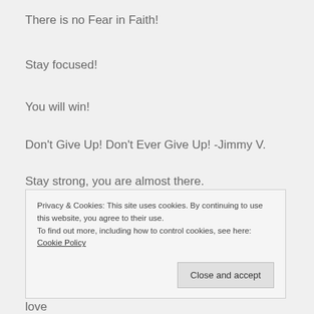There is no Fear in Faith!
Stay focused!
You will win!
Don't Give Up! Don't Ever Give Up! -Jimmy V.
Stay strong, you are almost there.
Privacy & Cookies: This site uses cookies. By continuing to use this website, you agree to their use.
To find out more, including how to control cookies, see here: Cookie Policy
Close and accept
love